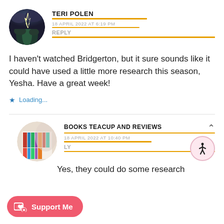[Figure (photo): Circular avatar photo of a stormy sky with lightning and a tree]
TERI POLEN
18 APRIL 2022 AT 6:19 PM
REPLY
I haven't watched Bridgerton, but it sure sounds like it could have used a little more research this season, Yesha. Have a great week!
Loading...
[Figure (photo): Circular avatar photo of a bookshelf with colorful books]
BOOKS TEACUP AND REVIEWS
18 APRIL 2022 AT 10:40 PM
REPLY
Yes, they could do some research
Support Me